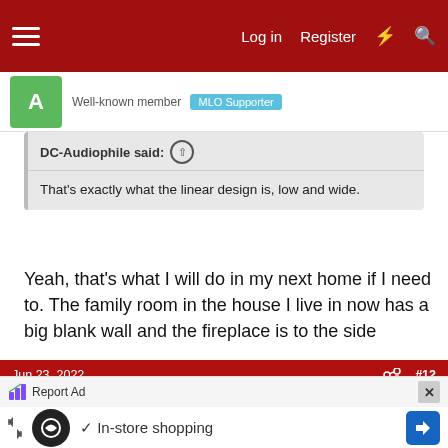Log in  Register
Well-known member  MLO Supporter
DC-Audiophile said: ↑
That's exactly what the linear design is, low and wide.
Yeah, that's what I will do in my next home if I need to. The family room in the house I live in now has a big blank wall and the fireplace is to the side
Jun 23, 2022  #12
Robert D
Well-known member  MLO Supporter
Report Ad
✓ In-store shopping